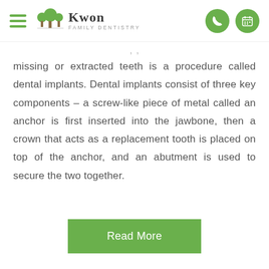Kwon Family Dentistry
missing or extracted teeth is a procedure called dental implants. Dental implants consist of three key components – a screw-like piece of metal called an anchor is first inserted into the jawbone, then a crown that acts as a replacement tooth is placed on top of the anchor, and an abutment is used to secure the two together.
Read More